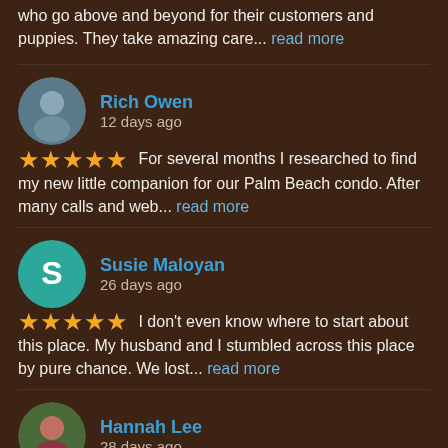who go above and beyond for their customers and puppies. They take amazing care... read more
Rich Owen
12 days ago
★★★★★ For several months I researched to find my new little companion for our Palm Beach condo. After many calls and web... read more
Susie Maloyan
26 days ago
★★★★★ I don't even know where to start about this place. My husband and I stumbled across this place by pure chance. We lost... read more
Hannah Lee
28 days ago
★★★★★ I got my Australian Puppy here a couple days ago and he has been such a joy, the sweetest puppy. Kevin has been so... read more
Lauren Traver
28 days ago